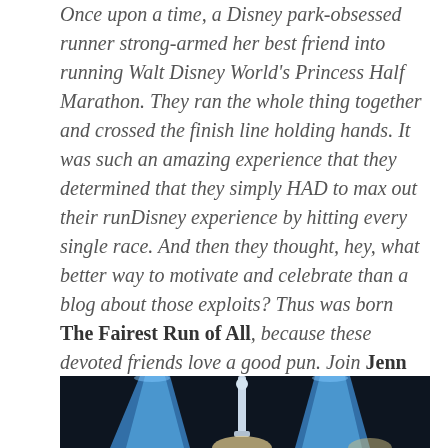Once upon a time, a Disney park-obsessed runner strong-armed her best friend into running Walt Disney World's Princess Half Marathon. They ran the whole thing together and crossed the finish line holding hands. It was such an amazing experience that they determined that they simply HAD to max out their runDisney experience by hitting every single race. And then they thought, hey, what better way to motivate and celebrate than a blog about those exploits? Thus was born The Fairest Run of All, because these devoted friends love a good pun. Join Jenn and Moon on their magical tour of the runDisney pantheon! (With a healthy dose of training, food, and Disney fun.) Ready? Onward!
[Figure (photo): Photo showing Cinderella-themed decorative elements or characters on a dark background, partially visible at bottom of page]